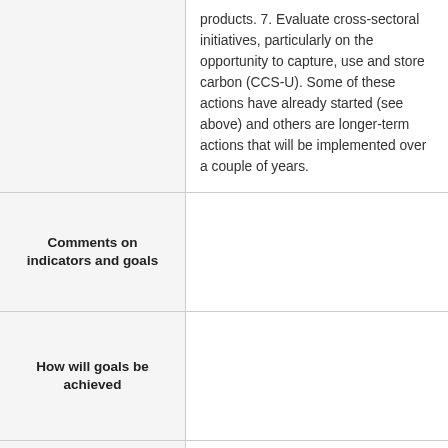products. 7. Evaluate cross-sectoral initiatives, particularly on the opportunity to capture, use and store carbon (CCS-U). Some of these actions have already started (see above) and others are longer-term actions that will be implemented over a couple of years.
| Comments on indicators and goals |  |
| --- | --- |
| How will goals be achieved |  |
| Have you changed or strenghtened |  |